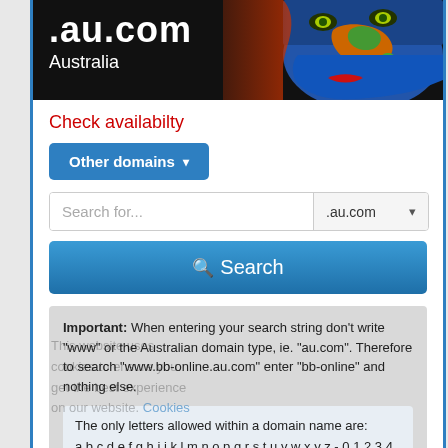[Figure (illustration): Header banner with .au.com Australia domain logo on black background, with an artistic photo of a person's face painted with Australian map colors (blue face, orange/green continent map) on the right side]
Check availabilty
Other domains ▾
Search for...   .au.com ▾
🔍 Search
Important: When entering your search string don't write "www" or the Australian domain type, ie. "au.com". Therefore to search "www.bb-online.au.com" enter "bb-online" and nothing else.
The only letters allowed within a domain name are: a b c d e f g h i j k l m n o p q r s t u v w x y z - 0 1 2 3 4 5 6 7 8 9. Spaces are NOT ALLOWED.